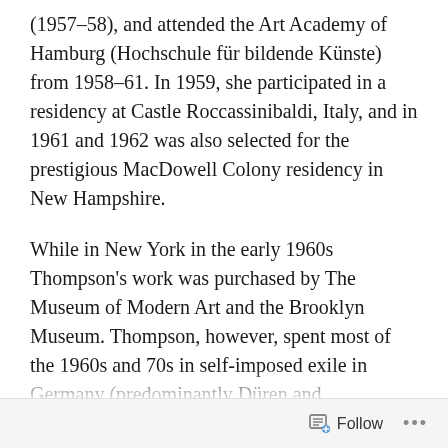(1957–58), and attended the Art Academy of Hamburg (Hochschule für bildende Künste) from 1958–61. In 1959, she participated in a residency at Castle Roccassinibaldi, Italy, and in 1961 and 1962 was also selected for the prestigious MacDowell Colony residency in New Hampshire.
While in New York in the early 1960s Thompson's work was purchased by The Museum of Modern Art and the Brooklyn Museum. Thompson, however, spent most of the 1960s and 70s in self-imposed exile in Germany (predominantly Düren and Konzendorf, near Cologne) due to the racial and gender discrimination she faced in the United States. During this time, Thompson taught, traveled and exhibited widely in Europe, while producing prolific and mature bodies of work in printmaking, painting
Follow ···